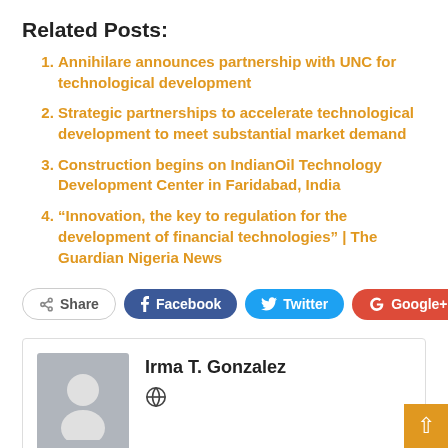Related Posts:
Annihilare announces partnership with UNC for technological development
Strategic partnerships to accelerate technological development to meet substantial market demand
Construction begins on IndianOil Technology Development Center in Faridabad, India
“Innovation, the key to regulation for the development of financial technologies” | The Guardian Nigeria News
[Figure (infographic): Social share buttons: Share, Facebook, Twitter, Google+, and a plus button]
[Figure (infographic): Author box with avatar placeholder for Irma T. Gonzalez with a globe/website icon]